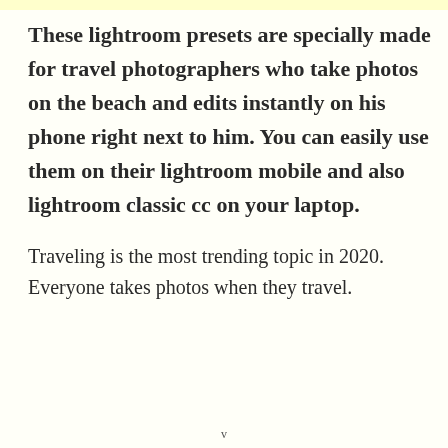These lightroom presets are specially made for travel photographers who take photos on the beach and edits instantly on his phone right next to him. You can easily use them on their lightroom mobile and also lightroom classic cc on your laptop.
Traveling is the most trending topic in 2020. Everyone takes photos when they travel.